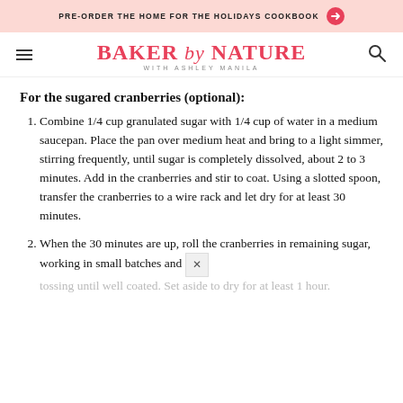PRE-ORDER THE HOME FOR THE HOLIDAYS COOKBOOK →
BAKER by NATURE WITH ASHLEY MANILA
For the sugared cranberries (optional):
Combine 1/4 cup granulated sugar with 1/4 cup of water in a medium saucepan. Place the pan over medium heat and bring to a light simmer, stirring frequently, until sugar is completely dissolved, about 2 to 3 minutes. Add in the cranberries and stir to coat. Using a slotted spoon, transfer the cranberries to a wire rack and let dry for at least 30 minutes.
When the 30 minutes are up, roll the cranberries in remaining sugar, working in small batches and tossing until well coated. Set aside to dry for at least 1 hour.